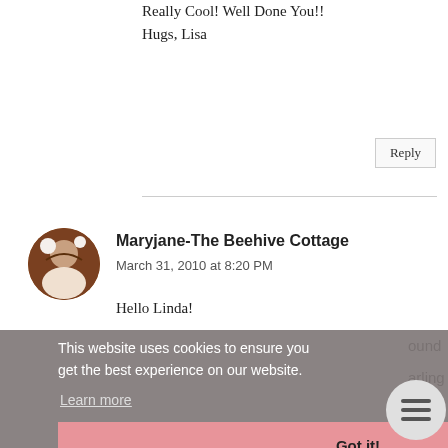Really Cool! Well Done You!!
Hugs, Lisa
Reply
Maryjane-The Beehive Cottage
March 31, 2010 at 8:20 PM
Hello Linda!
This website uses cookies to ensure you get the best experience on our website.
Learn more
Got it!
Happy Easter!